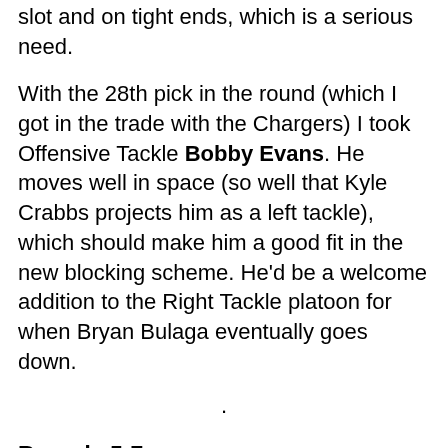slot and on tight ends, which is a serious need.
With the 28th pick in the round (which I got in the trade with the Chargers) I took Offensive Tackle Bobby Evans. He moves well in space (so well that Kyle Crabbs projects him as a left tackle), which should make him a good fit in the new blocking scheme. He'd be a welcome addition to the Right Tackle platoon for when Bryan Bulaga eventually goes down.
Rounds 5-7
I'm not going all the way through the Day 3 picks yet, but my trade gave me a couple extra picks, which means things could still be great with 3 picks...